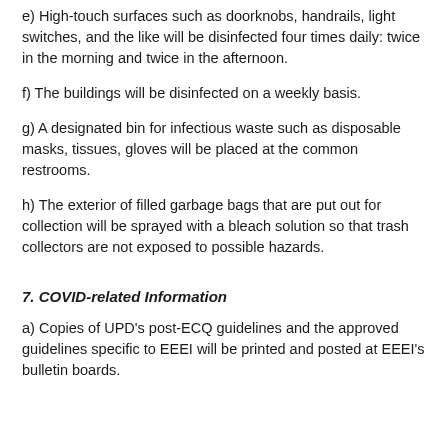e) High-touch surfaces such as doorknobs, handrails, light switches, and the like will be disinfected four times daily: twice in the morning and twice in the afternoon.
f) The buildings will be disinfected on a weekly basis.
g) A designated bin for infectious waste such as disposable masks, tissues, gloves will be placed at the common restrooms.
h) The exterior of filled garbage bags that are put out for collection will be sprayed with a bleach solution so that trash collectors are not exposed to possible hazards.
7. COVID-related Information
a) Copies of UPD's post-ECQ guidelines and the approved guidelines specific to EEEI will be printed and posted at EEEI's bulletin boards.